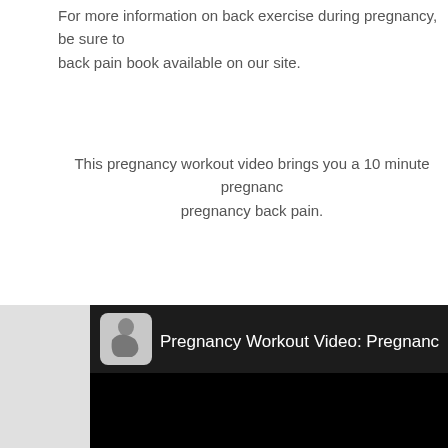For more information on back exercise during pregnancy, be sure to back pain book available on our site.
This pregnancy workout video brings you a 10 minute pregnancy pregnancy back pain.
[Figure (screenshot): Embedded video player screenshot showing a YouTube-style video with a dark header bar containing a circular avatar image of a pregnant woman and the title 'Pregnancy Workout Video: Pregnanc...' in white text, followed by a black video area below.]